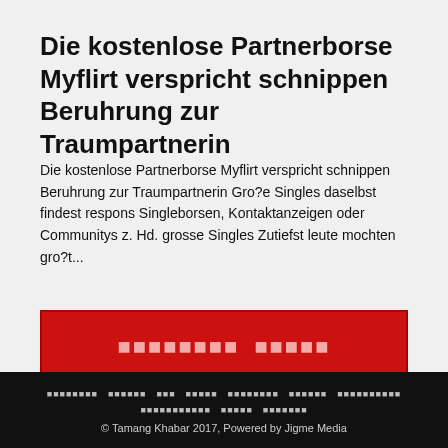Die kostenlose Partnerborse Myflirt verspricht schnippen Beruhrung zur Traumpartnerin
Die kostenlose Partnerborse Myflirt verspricht schnippen Beruhrung zur Traumpartnerin Gro?e Singles daselbst findest respons Singleborsen, Kontaktanzeigen oder Communitys z. Hd. grosse Singles Zutiefst leute mochten gro?t...
[Figure (other): Red button/banner with placeholder symbol text in a lighter red color on dark red background]
footer navigation links (rendered as symbol/placeholder characters) and copyright: © Tamang Khabar 2017, Powered by Jigme Media